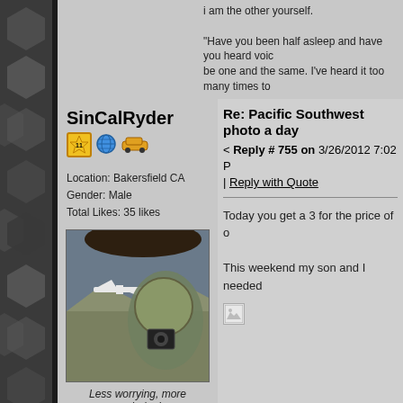i am the other yourself.

"Have you been half asleep and have you heard voices be one and the same. I've heard it too many times to
SinCalRyder
[Figure (illustration): User avatar photo showing a hand holding a camera/headset with a small airplane visible through a window with mountains below]
Less worrying, more exploring!
Location: Bakersfield CA
Gender: Male
Total Likes: 35 likes
Re: Pacific Southwest photo a day
< Reply # 755 on 3/26/2012 7:02 P
Reply with Quote
Today you get a 3 for the price of o
This weekend my son and I needed